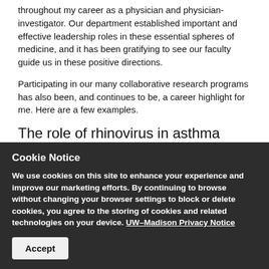throughout my career as a physician and physician-investigator. Our department established important and effective leadership roles in these essential spheres of medicine, and it has been gratifying to see our faculty guide us in these positive directions.
Participating in our many collaborative research programs has also been, and continues to be, a career highlight for me. Here are a few examples.
The role of rhinovirus in asthma
When I joined our faculty, a major research focus was discovering and explaining how asthma attacks are caused. We found that the major cause was a respiratory infection with the
Cookie Notice
We use cookies on this site to enhance your experience and improve our marketing efforts. By continuing to browse without changing your browser settings to block or delete cookies, you agree to the storing of cookies and related technologies on your device. UW–Madison Privacy Notice
Accept